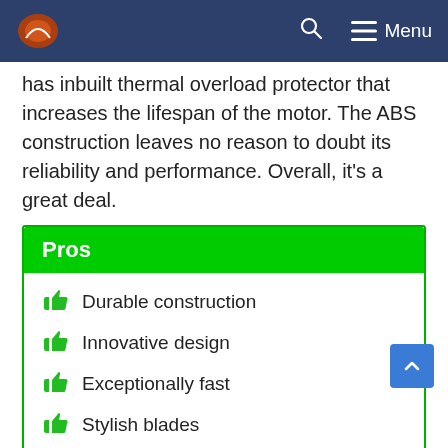Menu
has inbuilt thermal overload protector that increases the lifespan of the motor. The ABS construction leaves no reason to doubt its reliability and performance. Overall, it's a great deal.
Pros
Durable construction
Innovative design
Exceptionally fast
Stylish blades
Nice color combination
Cons